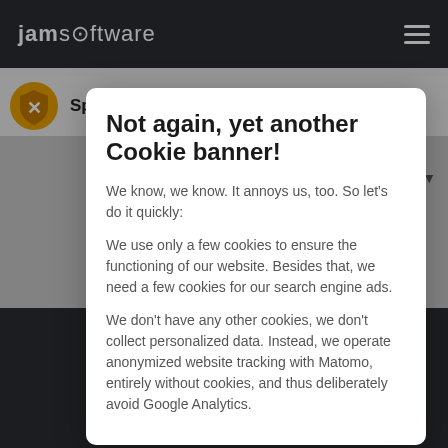jamsoftware
SpamAssassin in a Box
Not again, yet another Cookie banner!
We know, we know. It annoys us, too. So let's do it quickly:
We use only a few cookies to ensure the functioning of our website. Besides that, we need a few cookies for our search engine ads.
We don't have any other cookies, we don't collect personalized data. Instead, we operate anonymized website tracking with Matomo, entirely without cookies, and thus deliberately avoid Google Analytics.